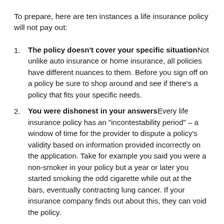To prepare, here are ten instances a life insurance policy will not pay out:
The policy doesn't cover your specific situation Not unlike auto insurance or home insurance, all policies have different nuances to them. Before you sign off on a policy be sure to shop around and see if there's a policy that fits your specific needs.
You were dishonest in your answers Every life insurance policy has an "incontestability period" – a window of time for the provider to dispute a policy's validity based on information provided incorrectly on the application. Take for example you said you were a non-smoker in your policy but a year or later you started smoking the odd cigarette while out at the bars, eventually contracting lung cancer. If your insurance company finds out about this, they can void the policy.